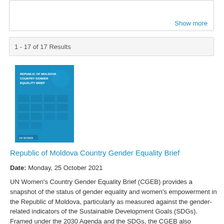Show more
1 - 17 of 17 Results
[Figure (illustration): Thumbnail cover image of the Republic of Moldova Country Gender Equality Brief document, blue background with decorative geometric shapes and title text.]
Republic of Moldova Country Gender Equality Brief
Date: Monday, 25 October 2021
UN Women's Country Gender Equality Brief (CGEB) provides a snapshot of the status of gender equality and women's empowerment in the Republic of Moldova, particularly as measured against the gender-related indicators of the Sustainable Development Goals (SDGs). Framed under the 2030 Agenda and the SDGs, the CGEB also summarises if and how women from underrepresented groups are affected by a number of different discriminations.